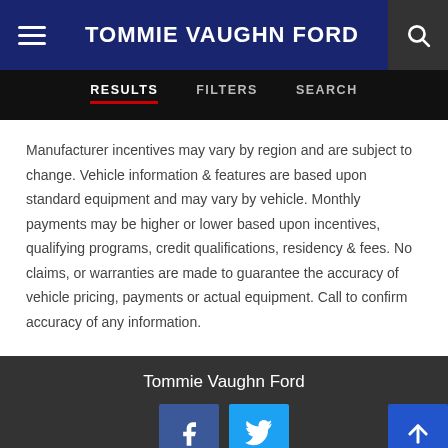TOMMIE VAUGHN FORD
RESULTS   FILTERS   SEARCH
Manufacturer incentives may vary by region and are subject to change. Vehicle information & features are based upon standard equipment and may vary by vehicle. Monthly payments may be higher or lower based upon incentives, qualifying programs, credit qualifications, residency & fees. No claims, or warranties are made to guarantee the accuracy of vehicle pricing, payments or actual equipment. Call to confirm accuracy of any information.
Tommie Vaughn Ford